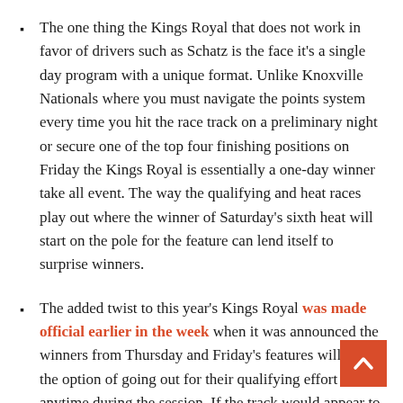The one thing the Kings Royal that does not work in favor of drivers such as Schatz is the face it's a single day program with a unique format. Unlike Knoxville Nationals where you must navigate the points system every time you hit the race track on a preliminary night or secure one of the top four finishing positions on Friday the Kings Royal is essentially a one-day winner take all event. The way the qualifying and heat races play out where the winner of Saturday's sixth heat will start on the pole for the feature can lend itself to surprise winners.
The added twist to this year's Kings Royal was made official earlier in the week when it was announced the winners from Thursday and Friday's features will have the option of going out for their qualifying effort anytime during the session. If the track would appear to be drying out quickly the driver or drivers that won those events can go out early, or if we were to run into a situation where the track was getting faster through the session they could choose to go out later.